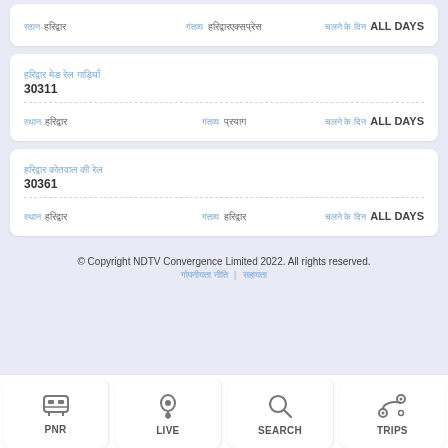| स्टेशन | गंतव्य | चलने के दिन |
| --- | --- | --- |
| हरिद्वार | हरिद्वारएक्सप्रेस | ALL DAYS |
| स्टेशन | गंतव्य | चलने के दिन |
| --- | --- | --- |
| हरिद्वार | प्रयाग | ALL DAYS |
| 30311 |  |  |
| स्टेशन | गंतव्य | चलने के दिन |
| --- | --- | --- |
| हरिद्वार | हरिद्वार | ALL DAYS |
| 30361 |  |  |
© Copyright NDTV Convergence Limited 2022. All rights reserved.
गोपनीयता नीति | सहायता
[Figure (infographic): Bottom navigation bar with 4 icons: PNR (train icon), LIVE (location pin icon), SEARCH (magnifying glass icon), TRIPS (route/pin icon)]